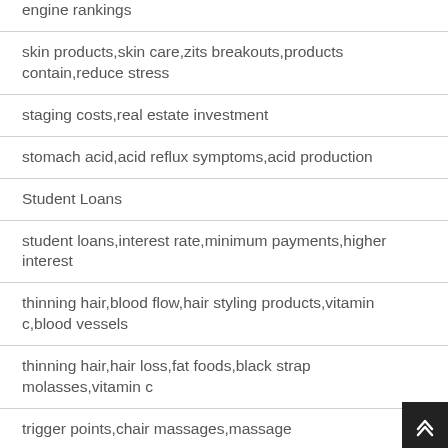engine rankings
skin products,skin care,zits breakouts,products contain,reduce stress
staging costs,real estate investment
stomach acid,acid reflux symptoms,acid production
Student Loans
student loans,interest rate,minimum payments,higher interest
thinning hair,blood flow,hair styling products,vitamin c,blood vessels
thinning hair,hair loss,fat foods,black strap molasses,vitamin c
trigger points,chair massages,massage